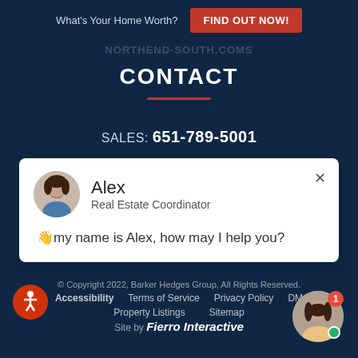What's Your Home Worth? FIND OUT NOW!
NORTHEND-SOUTH.COMS
CONTACT
SALES: 651-789-5001
[Figure (screenshot): Chat widget card showing agent Alex, Real Estate Coordinator, with message: 'my name is Alex, how may I help you?']
© Copyright 2022, Barker Hedges Group, All Rights Reserved. Accessibility  Terms of Service  Privacy Policy  DM  Property Listings  Sitemap  Site by Fierro Interactive